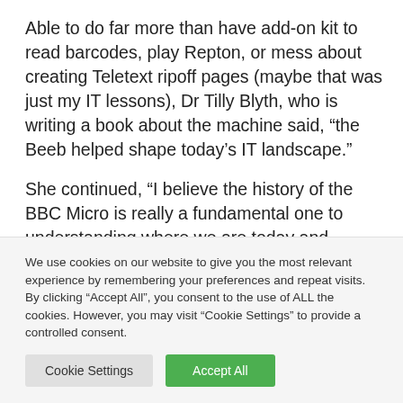Able to do far more than have add-on kit to read barcodes, play Repton, or mess about creating Teletext ripoff pages (maybe that was just my IT lessons), Dr Tilly Blyth, who is writing a book about the machine said, “the Beeb helped shape today’s IT landscape.”
She continued, “I believe the history of the BBC Micro is really a fundamental one to understanding where we are today and explaining the British computer industry and our culture of computing that we have today.”
We use cookies on our website to give you the most relevant experience by remembering your preferences and repeat visits. By clicking “Accept All”, you consent to the use of ALL the cookies. However, you may visit “Cookie Settings” to provide a controlled consent.